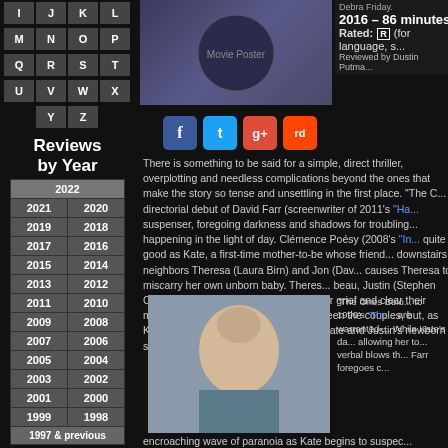I J K L
M N O P
Q R S T
U V W X
Y Z
Reviews by Year
| 2022 |
| 2021 | 2020 |
| 2019 | 2018 |
| 2017 | 2016 |
| 2015 | 2014 |
| 2013 | 2012 |
| 2011 | 2010 |
| 2009 | 2008 |
| 2007 | 2006 |
| 2005 | 2004 |
| 2003 | 2002 |
| 2001 | 2000 |
| 1999 | 1998 |
| 1997 & previous |
Reviews by Rating
[Figure (other): Star rating icons - four green stars]
[Figure (other): Star rating icons - partial/additional stars row]
2016 – 86 minutes
Rated: R (for language, s...
Reviewed by Dustin Putma...
[Figure (photo): Movie poster image]
[Figure (photo): Scene from the film showing a blonde woman looking alarmed]
There is something to be said for a simple, direct thriller, overplotting and needless complications beyond the ones that make the story so tense and unsettling in the first place. "The C... directorial debut of David Farr (screenwriter of 2011's "Ha... suspenser, foregoing darkness and shadows for troubling... happening in the light of day. Clémence Poésy (2008's "In... quite good as Kate, a first-time mother-to-be whose friend... downstairs neighbors Theresa (Laura Birn) and Jon (Dav... causes Theresa to miscarry her own unborn baby. Theres... beau, Justin (Stephen Campbell Moore), for the fatal occ... their grief and clear their minds they are quick to apologiz... between the couples, but, as Kate comes to discover, no... coveting Kate and Justin's newborn son.
"The Ones Belo... to 1990's "The... are warranted-... While Kate's da... allowing her to... verbal blows th... Farr foregoes c...
encroaching wave of paranoia as Kate begins to suspec...